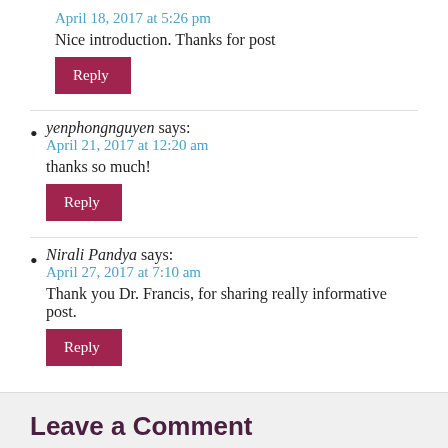April 18, 2017 at 5:26 pm
Nice introduction. Thanks for post
Reply
yenphongnguyen says:
April 21, 2017 at 12:20 am
thanks so much!
Reply
Nirali Pandya says:
April 27, 2017 at 7:10 am
Thank you Dr. Francis, for sharing really informative post.
Reply
Leave a Comment